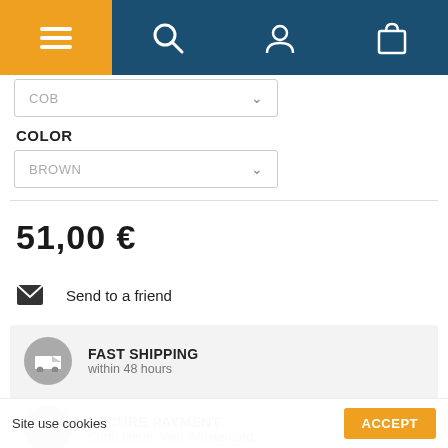[Figure (screenshot): Navigation bar with hamburger menu (orange), search icon, user icon, and shopping bag icon (all on dark blue background)]
COB
COLOR
BROWN
51,00 €
Send to a friend
FAST SHIPPING
within 48 hours
SECURE PAYMENT
Carte bleue, Visa, Mastercard
Site use cookies
ACCEPT